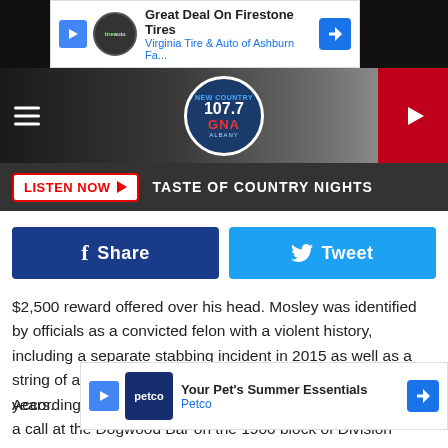[Figure (screenshot): Advertisement banner: Great Deal On Firestone Tires - Virginia Tire & Auto of Ashburn Fa...]
[Figure (screenshot): 107.7 GNA New Country Albany radio station header with logo, hamburger menu, and play button]
[Figure (screenshot): Listen Now button and TASTE OF COUNTRY NIGHTS label on dark bar]
[Figure (screenshot): Facebook Share and Twitter Tweet social buttons]
$2,500 reward offered over his head. Mosley was identified by officials as a convicted felon with a violent history, including a separate stabbing incident in 2015 as well as a string of assault and burglary charges over the past few years.
According to Nashville's NewsChannel5, police responded to a call at the Dogwood Bar on the 1900 block of Division Street
[Figure (screenshot): Advertisement banner: Your Pet's Summer Essentials - Petco]